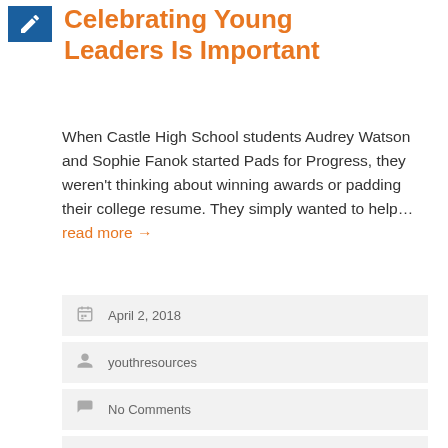Celebrating Young Leaders Is Important
When Castle High School students Audrey Watson and Sophie Fanok started Pads for Progress, they weren't thinking about winning awards or padding their college resume. They simply wanted to help… read more →
April 2, 2018
youthresources
No Comments
Courier & Press Articles